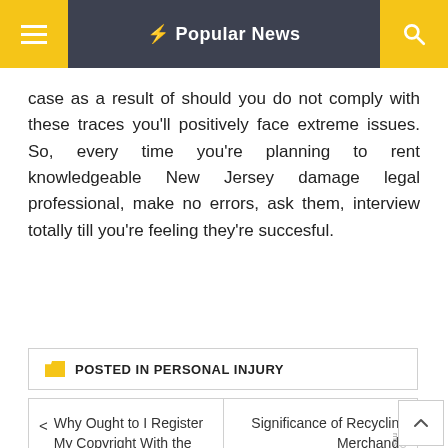⚡ Popular News
case as a result of should you do not comply with these traces you'll positively face extreme issues. So, every time you're planning to rent knowledgeable New Jersey damage legal professional, make no errors, ask them, interview totally till you're feeling they're succesful.
POSTED IN PERSONAL INJURY
< Why Ought to I Register My Copyright With the US Copyright
Significance of Recycling Merchandise